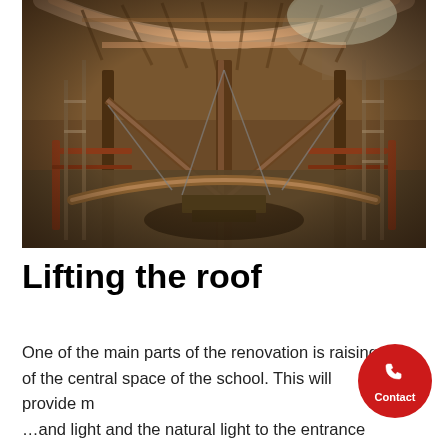[Figure (photo): Fisheye lens interior construction photo showing wooden roof beams, scaffolding, and structural framework of a building under renovation. Taken from below looking upward and outward, with curved wooden arches visible at top and construction materials throughout.]
Lifting the roof
One of the main parts of the renovation is raising of the central space of the school. This will provide m… …and light and the natural light to the entrance and centre of the…